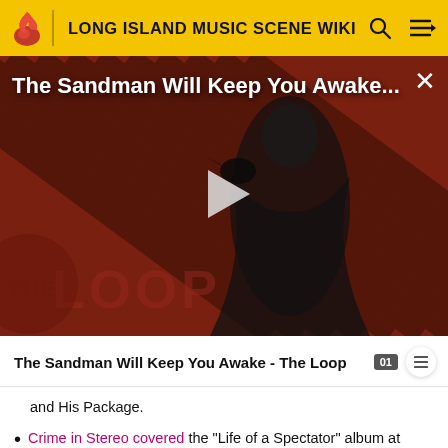LONG ISLAND MUSIC SCENE WIKI
[Figure (screenshot): Video thumbnail for 'The Sandman Will Keep You Awake...' showing a dark-cloaked figure with a crow against a red/brown diagonal-striped background, with 'THE LOOP' watermark and a play button overlay.]
The Sandman Will Keep You Awake - The Loop
and His Package.
Crime in Stereo covered the "Life of a Spectator" album at Today's Mixtape Fest on April 5th 2013.